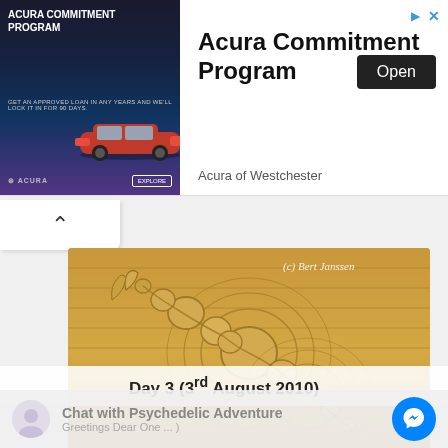[Figure (screenshot): Acura Commitment Program advertisement banner with car image on left and text/Open button on right]
[Figure (photo): Aerial photograph of a crop circle formation in a golden wheat field, showing an elongated spiral pattern with circular elements, credited to (c) Bert Janssen]
Day 3 (3rd August 2010)
Chat with Psychedelic Adventure
Greetings Dear One ... )